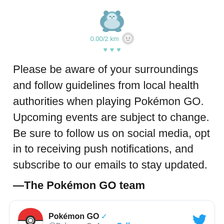[Figure (illustration): Snorlax Pokémon buddy widget showing 0.00/2 km distance with teal hearts and a buddy face icon]
Please be aware of your surroundings and follow guidelines from local health authorities when playing Pokémon GO. Upcoming events are subject to change. Be sure to follow us on social media, opt in to receiving push notifications, and subscribe to our emails to stay updated.
—The Pokémon GO team
[Figure (screenshot): Embedded tweet from @PokemonGoApp (Pokémon GO, verified) reading: Trainers, the #SeasonOfAlola continues in May with the following exciting events! 🌴 🎈 Air Adventures 🌊 Water Festival]